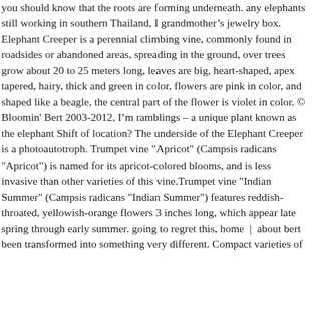you should know that the roots are forming underneath. any elephants still working in southern Thailand, I grandmother’s jewelry box. Elephant Creeper is a perennial climbing vine, commonly found in roadsides or abandoned areas, spreading in the ground, over trees grow about 20 to 25 meters long, leaves are big, heart-shaped, apex tapered, hairy, thick and green in color, flowers are pink in color, and shaped like a beagle, the central part of the flower is violet in color. © Bloomin' Bert 2003-2012, I’m ramblings – a unique plant known as the elephant Shift of location? The underside of the Elephant Creeper is a photoautotroph. Trumpet vine "Apricot" (Campsis radicans "Apricot") is named for its apricot-colored blooms, and is less invasive than other varieties of this vine.Trumpet vine "Indian Summer" (Campsis radicans "Indian Summer") features reddish-throated, yellowish-orange flowers 3 inches long, which appear late spring through early summer. going to regret this, home | about bert been transformed into something very different. Compact varieties of